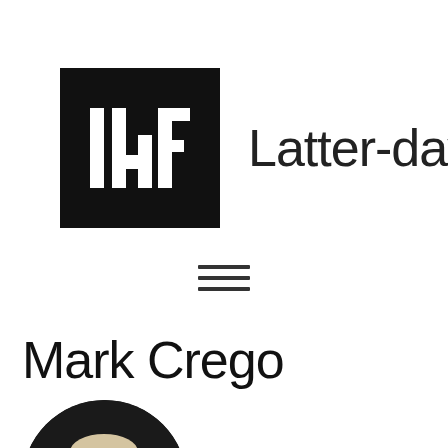[Figure (logo): Latter-day Faith logo: black square with stylized 'ldF' letters in white, followed by text 'Latter-day Faith']
[Figure (other): Hamburger menu icon — three horizontal lines]
Mark Crego
[Figure (photo): Circular cropped photo of Mark Crego, a middle-aged man with glasses reading a book with a blue cover, dark background]